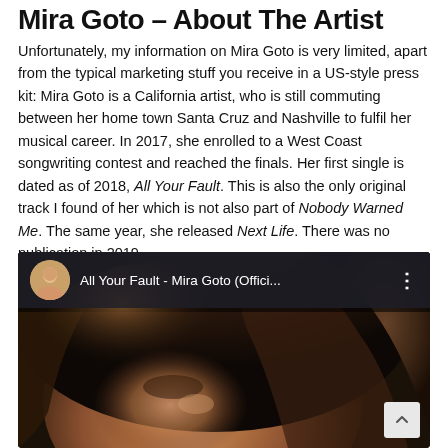Mira Goto – About The Artist
Unfortunately, my information on Mira Goto is very limited, apart from the typical marketing stuff you receive in a US-style press kit: Mira Goto is a California artist, who is still commuting between her home town Santa Cruz and Nashville to fulfil her musical career. In 2017, she enrolled to a West Coast songwriting contest and reached the finals. Her first single is dated as of 2018, All Your Fault. This is also the only original track I found of her which is not also part of Nobody Warned Me. The same year, she released Next Life. There was no publication in 2019.
[Figure (screenshot): YouTube video thumbnail for 'All Your Fault - Mira Goto (Offici...' showing a close-up of a woman's face with dark hair, with a YouTube-style header bar showing an avatar and video title, and a scroll-to-top button in the bottom right corner.]